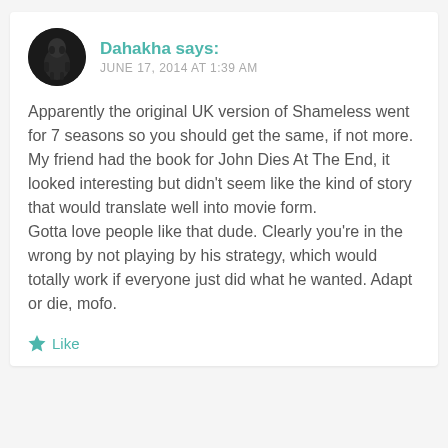[Figure (photo): Circular avatar image of a dark figure/creature on white background]
Dahakha says:
JUNE 17, 2014 AT 1:39 AM
Apparently the original UK version of Shameless went for 7 seasons so you should get the same, if not more.
My friend had the book for John Dies At The End, it looked interesting but didn't seem like the kind of story that would translate well into movie form.
Gotta love people like that dude. Clearly you're in the wrong by not playing by his strategy, which would totally work if everyone just did what he wanted. Adapt or die, mofo.
Like